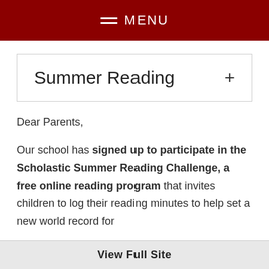MENU
Summer Reading
Dear Parents,
Our school has signed up to participate in the Scholastic Summer Reading Challenge, a free online reading program that invites children to log their reading minutes to help set a new world record for
View Full Site